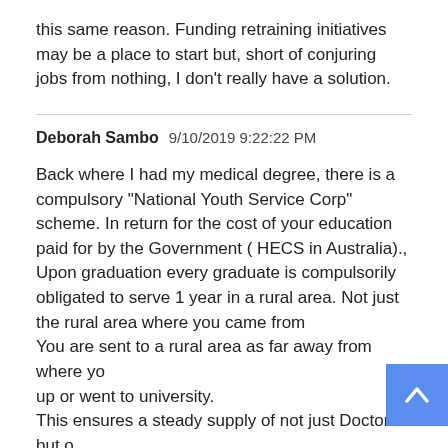this same reason. Funding retraining initiatives may be a place to start but, short of conjuring jobs from nothing, I don't really have a solution.
Deborah Sambo  9/10/2019 9:22:22 PM
Back where I had my medical degree, there is a compulsory "National Youth Service Corp" scheme. In return for the cost of your education paid for by the Government ( HECS in Australia)., Upon graduation every graduate is compulsorily obligated to serve 1 year in a rural area. Not just the rural area where you came from
You are sent to a rural area as far away from where you grew up or went to university.
This ensures a steady supply of not just Doctors but other fields unrelated to medicine.